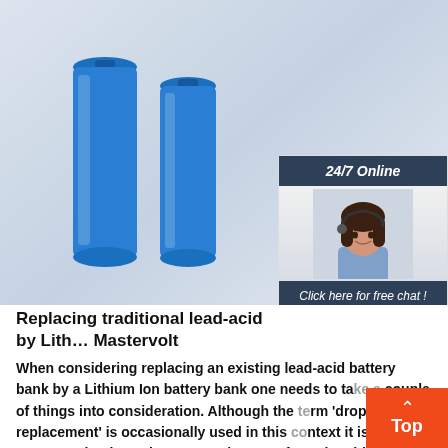[Figure (photo): Two blue cylindrical lithium ion batteries standing upright on left, two purple/lavender cylindrical batteries lying on their sides on the right, against a light gray-blue gradient background. A sidebar widget overlays the right side showing '24/7 Online' customer service representative, 'Click here for free chat!' text, and an orange 'QUOTATION' button.]
Replacing traditional lead-acid by Lithium Ion: Mastervolt
When considering replacing an existing lead-acid battery bank by a Lithium Ion battery bank one needs to take a couple of things into consideration. Although the term 'drop-in replacement' is occasionally used in this context it is actually never as simple as that. To get the most from the Lithium Ion batteries stay within the recommended